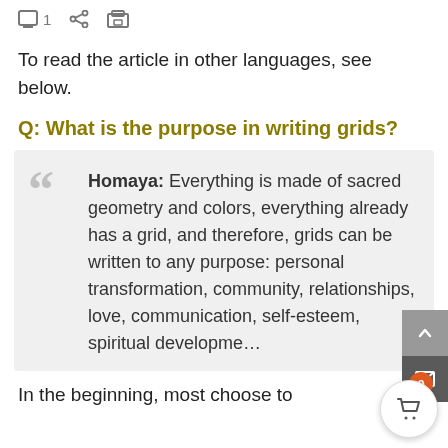1 [comment icon] [share icon] [print icon]
To read the article in other languages, see below.
Q: What is the purpose in writing grids?
Homaya: Everything is made of sacred geometry and colors, everything already has a grid, and therefore, grids can be written to any purpose: personal transformation, community, relationships, love, communication, self-esteem, spiritual development
In the beginning, most choose to